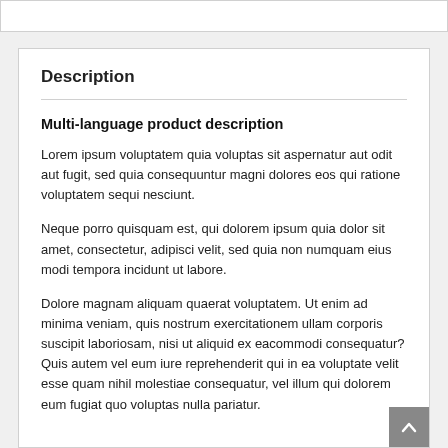Description
Multi-language product description
Lorem ipsum voluptatem quia voluptas sit aspernatur aut odit aut fugit, sed quia consequuntur magni dolores eos qui ratione voluptatem sequi nesciunt.
Neque porro quisquam est, qui dolorem ipsum quia dolor sit amet, consectetur, adipisci velit, sed quia non numquam eius modi tempora incidunt ut labore.
Dolore magnam aliquam quaerat voluptatem. Ut enim ad minima veniam, quis nostrum exercitationem ullam corporis suscipit laboriosam, nisi ut aliquid ex eacommodi consequatur? Quis autem vel eum iure reprehenderit qui in ea voluptate velit esse quam nihil molestiae consequatur, vel illum qui dolorem eum fugiat quo voluptas nulla pariatur.